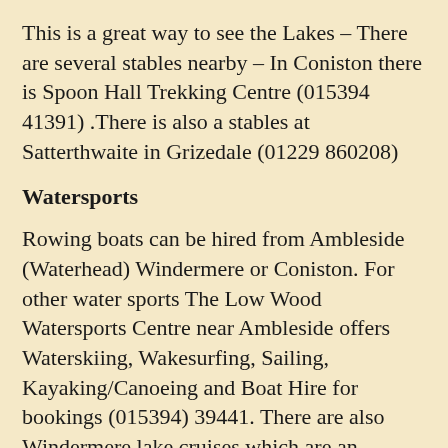This is a great way to see the Lakes – There are several stables nearby – In Coniston there is Spoon Hall Trekking Centre (015394 41391) .There is also a stables at  Satterthwaite in Grizedale (01229 860208)
Watersports
Rowing boats can be hired from Ambleside (Waterhead) Windermere or Coniston. For other water sports The Low Wood Watersports Centre near Ambleside offers Waterskiing, Wakesurfing, Sailing, Kayaking/Canoeing and Boat Hire for bookings (015394) 39441. There are also Windermere lake cruises which are an excellent way to see the lake or if you fancy a trip on a Steam Gondola they cruise up and down Coniston Water. Ambleside Tourist information office is an excellent source for ideas for days out whether it is sunny or not!
If you want your holiday to be action packed why not